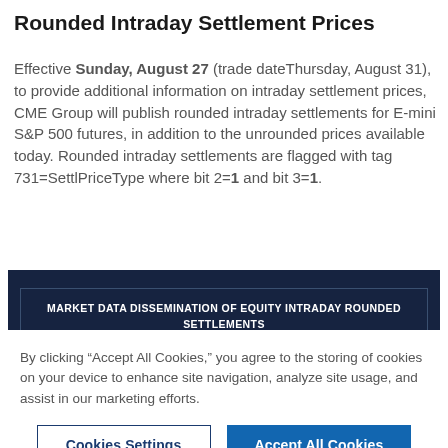Rounded Intraday Settlement Prices
Effective Sunday, August 27 (trade dateThursday, August 31), to provide additional information on intraday settlement prices, CME Group will publish rounded intraday settlements for E-mini S&P 500 futures, in addition to the unrounded prices available today. Rounded intraday settlements are flagged with tag 731=SettlPriceType where bit 2=1 and bit 3=1.
[Figure (other): Dark navy banner with white uppercase text reading: MARKET DATA DISSEMINATION OF EQUITY INTRADAY ROUNDED SETTLEMENTS PRICES]
By clicking “Accept All Cookies,” you agree to the storing of cookies on your device to enhance site navigation, analyze site usage, and assist in our marketing efforts.
Cookies Settings | Accept All Cookies